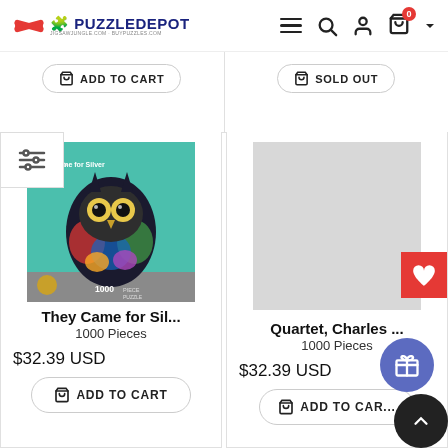PuzzleDepot — jigsawjungle.com · buypuzzles.com
[Figure (screenshot): Partially visible top product row showing ADD TO CART button on left and SOLD OUT button on right]
[Figure (photo): Owl puzzle box cover — colorful painted owl on teal background, 1000 pieces, titled They Came for Silver]
They Came for Sil...
1000 Pieces
$32.39 USD
ADD TO CART
[Figure (photo): Grey placeholder image for Quartet, Charles puzzle]
Quartet, Charles ...
1000 Pieces
$32.39 USD
ADD TO CAR...